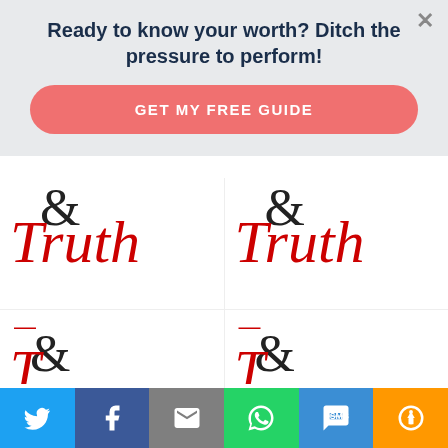Ready to know your worth? Ditch the pressure to perform!
GET MY FREE GUIDE
[Figure (screenshot): Two blog post thumbnails with '& Truth' cursive red logo. Left: 'On "Wrestling with the Small Things" ~ #GraceTruth Week 2'. Right: 'Welcome to the New Christian Living Link-up ~ #GraceTruth']
[Figure (screenshot): Two partially visible blog post thumbnails with '& Truth' cursive red logo at the bottom of the page.]
Social sharing bar: Twitter, Facebook, Email, WhatsApp, SMS, Share